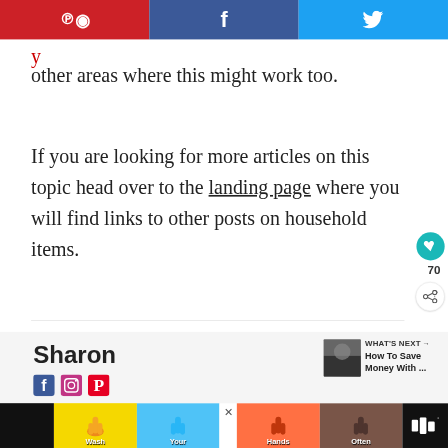Pinterest | Facebook | Twitter share buttons
y other areas where this might work too.
If you are looking for more articles on this topic head over to the landing page where you will find links to other posts on household items.
Sharon
[Figure (infographic): Author social media icons: Facebook, Instagram, Pinterest]
[Figure (infographic): What's Next: How To Save Money With ... thumbnail with image]
[Figure (infographic): Wash Your Hands Often advertisement banner with hand-washing illustrations]